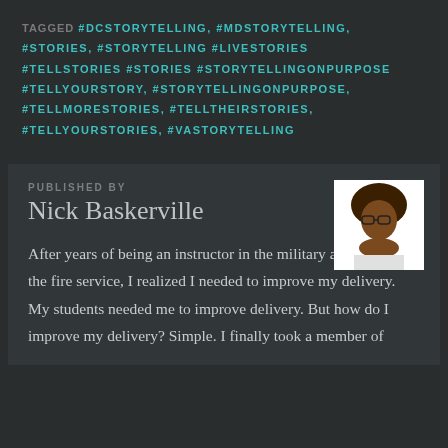TAGGED #DCSTORYTELLING, #MDSTORYTELLING, #STORIES, #STORYTELLING #LIVESTORIES #TELLSTORIES #STORIES #STORYTELLINGONPURPOSE #TELLYOURSTORY, #STORYTELLINGONPURPOSE, #TELLMORESTORIES, #TELLTHEIRSTORIES, #TELLYOURSTORIES, #VASTORYTELLING
PUBLISHED BY Nick Baskerville
After years of being an instructor in the military and the and the fire service, I realized I needed to improve my delivery. My students needed me to improve delivery. But how do I improve my delivery? Simple. I finally took a member of